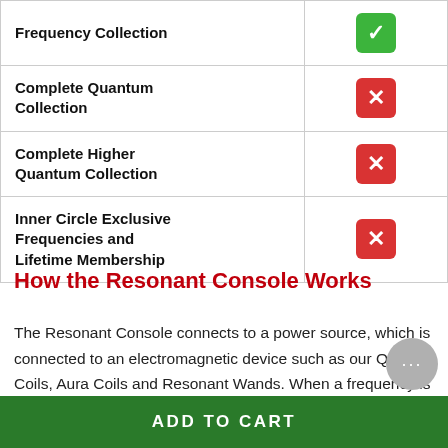| Feature | Included |
| --- | --- |
| Frequency Collection | ✓ |
| Complete Quantum Collection | ✗ |
| Complete Higher Quantum Collection | ✗ |
| Inner Circle Exclusive Frequencies and Lifetime Membership | ✗ |
How the Resonant Console Works
The Resonant Console connects to a power source, which is connected to an electromagnetic device such as our Qi Coils, Aura Coils and Resonant Wands. When a frequency is played on the Resonant console, the power source am the...